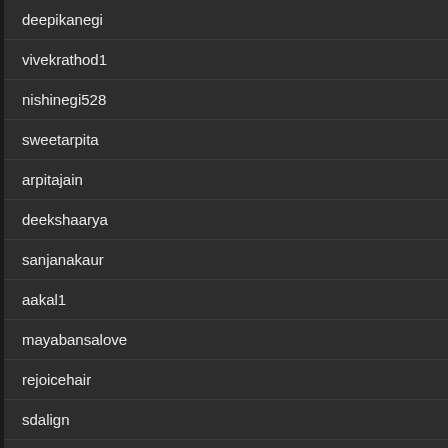deepikanegi
vivekrathod1
nishinegi528
sweetarpita
arpitajain
deekshaarya
sanjanakaur
aakal1
mayabansalove
rejoicehair
sdalign
lillyzwedsr